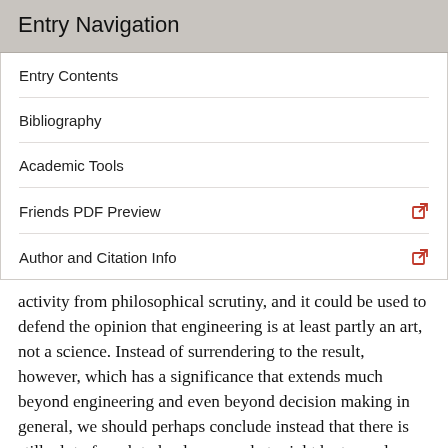Entry Navigation
Entry Contents
Bibliography
Academic Tools
Friends PDF Preview
Author and Citation Info
activity from philosophical scrutiny, and it could be used to defend the opinion that engineering is at least partly an art, not a science. Instead of surrendering to the result, however, which has a significance that extends much beyond engineering and even beyond decision making in general, we should perhaps conclude instead that there is still a lot of work to be done on what might be termed, provisionally, ‘approximative’ forms of reasoning. One form of reasoning to be included here is Herbert Simon’s bounded rationality, plus the related notion of ‘satisficing’. Since their introduction in the 1950s (Simon